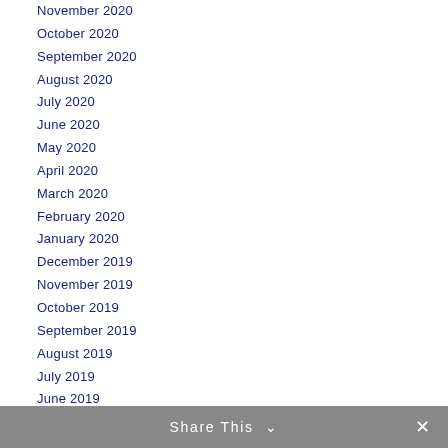November 2020
October 2020
September 2020
August 2020
July 2020
June 2020
May 2020
April 2020
March 2020
February 2020
January 2020
December 2019
November 2019
October 2019
September 2019
August 2019
July 2019
June 2019
May 2019
April 2019
March 2019
February 2019
Share This ∨  ✕